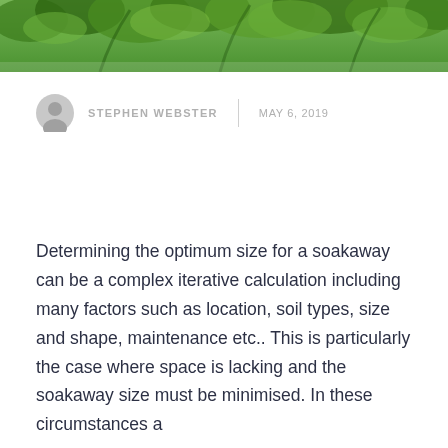[Figure (photo): Green tree foliage header banner image]
STEPHEN WEBSTER   |   MAY 6, 2019
Determining the optimum size for a soakaway can be a complex iterative calculation including many factors such as location, soil types, size and shape, maintenance etc.. This is particularly the case where space is lacking and the soakaway size must be minimised. In these circumstances a